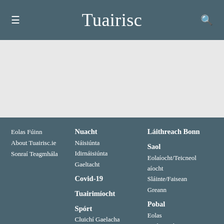Tuairisc
[Figure (other): Light grey banner/advertisement placeholder area]
Eolas Fúinn
About Tuairisc.ie
Sonraí Teagmhála
Nuacht
Náisiúnta
Idirnáisiúnta
Gaeltacht
Covid-19
Tuairimíocht
Spórt
Cluichí Gaelacha
Láithreach Bonn
Saol
Eolaíocht/Teicneolaíocht
Sláinte/Faisean
Greann
Pobal
Eolas
Gailearaithe